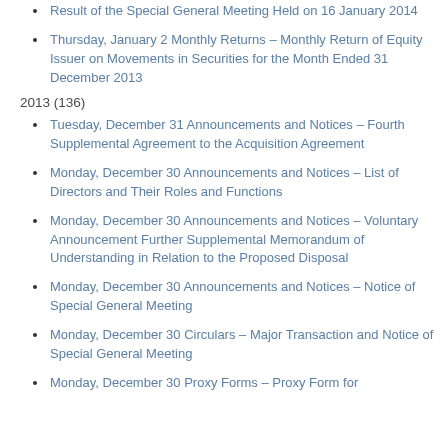Result of the Special General Meeting Held on 16 January 2014
Thursday, January 2 Monthly Returns – Monthly Return of Equity Issuer on Movements in Securities for the Month Ended 31 December 2013
2013 (136)
Tuesday, December 31 Announcements and Notices – Fourth Supplemental Agreement to the Acquisition Agreement
Monday, December 30 Announcements and Notices – List of Directors and Their Roles and Functions
Monday, December 30 Announcements and Notices – Voluntary Announcement Further Supplemental Memorandum of Understanding in Relation to the Proposed Disposal
Monday, December 30 Announcements and Notices – Notice of Special General Meeting
Monday, December 30 Circulars – Major Transaction and Notice of Special General Meeting
Monday, December 30 Proxy Forms – Proxy Form for